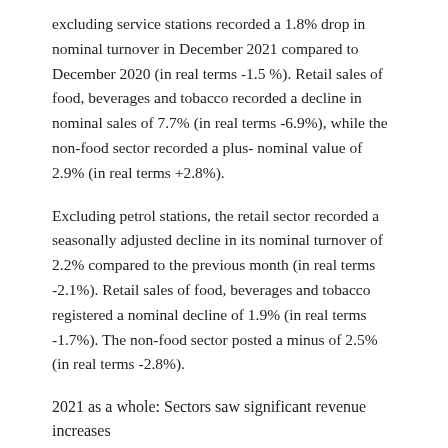excluding service stations recorded a 1.8% drop in nominal turnover in December 2021 compared to December 2020 (in real terms -1.5 %). Retail sales of food, beverages and tobacco recorded a decline in nominal sales of 7.7% (in real terms -6.9%), while the non-food sector recorded a plus- nominal value of 2.9% (in real terms +2.8%).
Excluding petrol stations, the retail sector recorded a seasonally adjusted decline in its nominal turnover of 2.2% compared to the previous month (in real terms -2.1%). Retail sales of food, beverages and tobacco registered a nominal decline of 1.9% (in real terms -1.7%). The non-food sector posted a minus of 2.5% (in real terms -2.8%).
2021 as a whole: Sectors saw significant revenue increases
For the whole of 2021, the Swiss retail trade recorded a provisional increase in nominal turnover of 4.2% (+0.8% in real terms) compared to the previous year. The previous year, the